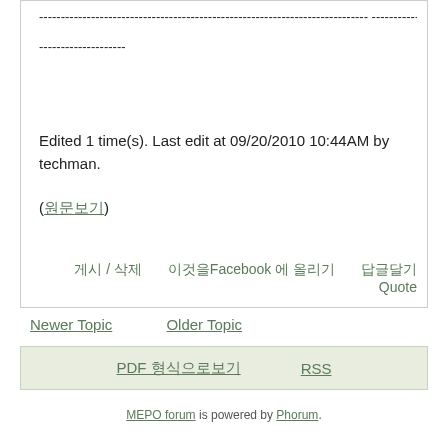---------------------------------------------------------------------------- --------------------
Edited 1 time(s). Last edit at 09/20/2010 10:44AM by techman.
(원문보기)
게시 / 삭제   이것을Facebook 에 올리기   답글달기   Quote
Newer Topic   Older Topic
PDF 형식으로보기   RSS
MEPO forum is powered by Phorum.